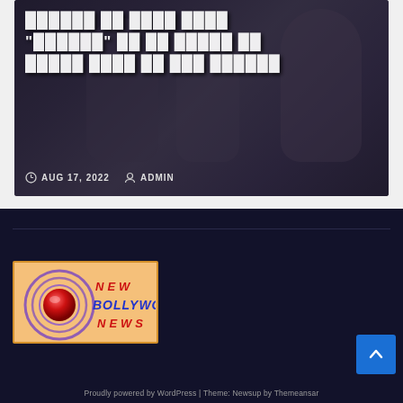[Figure (photo): Blurred group of people in background with overlaid Hindi text headline and metadata showing AUG 17, 2022 and ADMIN]
AUG 17, 2022   ADMIN
[Figure (logo): New Bollywood News logo — orange/peach background with a red 3D ball with purple rings, text reading NEW BOLLYWOOD NEWS in red and blue stylized lettering]
Proudly powered by WordPress | Theme: Newsup by Themeansar